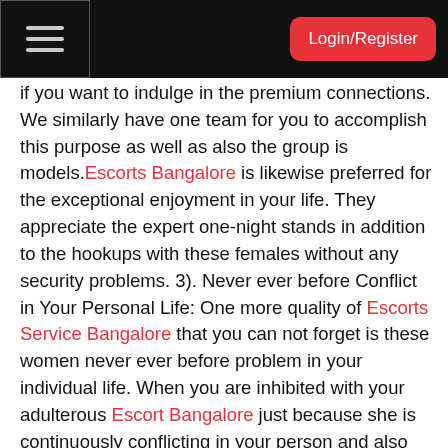Login/Register
if you want to indulge in the premium connections. We similarly have one team for you to accomplish this purpose as well as also the group is models. Escorts Bangalore is likewise preferred for the exceptional enjoyment in your life. They appreciate the expert one-night stands in addition to the hookups with these females without any security problems. 3). Never ever before Conflict in Your Personal Life: One more quality of Escorts Service Bangalore that you can not forget is these women never ever before problem in your individual life. When you are inhibited with your adulterous Escort Bangalore just because she is continuously conflicting in your person and also wedded life after that depend on the specialist ladies that are only curious about intimate points. Lowest Level Line: Without any hold-up enable's start these things along with never ever before remember once more when you go into the physical affection mode with Bangalore Escorts Service